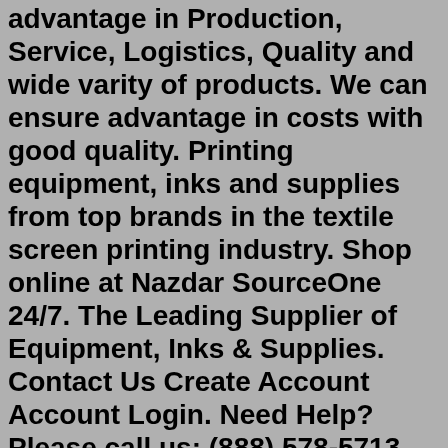advantage in Production, Service, Logistics, Quality and wide varity of products. We can ensure advantage in costs with good quality. Printing equipment, inks and supplies from top brands in the textile screen printing industry. Shop online at Nazdar SourceOne 24/7. The Leading Supplier of Equipment, Inks & Supplies. Contact Us Create Account Account Login. Need Help? Please call us: (888) 578-5713. Shop by product. Equipment. Graphic. Digital. Curing; Printing;About Us. Apparel accessories and textile products from Turkey. We are manufacturing apparels in our factories Turkey and Bangladesh. Our Head Office in Istanbul and Branch office in Dhaka, we have a great advantage in Production, Service, Logistics, Quality and wide varity of products. We can ensure advantage in costs with good quality. Exports of both the Turkish textile and clothing industries achieved a modest growth in 2017, rising 2.5% and 3.0% respectively. Industry leaders have predicted that 2018 will be better. Last year, textile exports amounted to around US$10bn and clothing